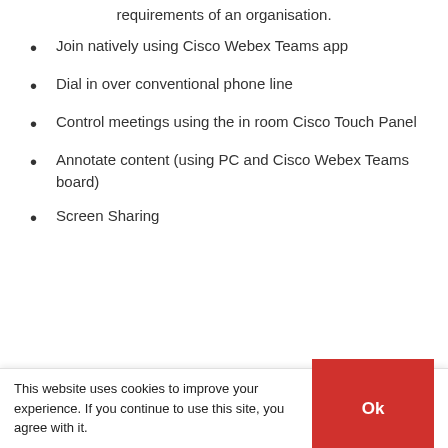requirements of an organisation.
Join natively using Cisco Webex Teams app
Dial in over conventional phone line
Control meetings using the in room Cisco Touch Panel
Annotate content (using PC and Cisco Webex Teams board)
Screen Sharing
This website uses cookies to improve your experience. If you continue to use this site, you agree with it.